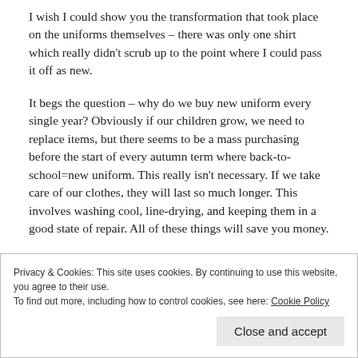I wish I could show you the transformation that took place on the uniforms themselves – there was only one shirt which really didn't scrub up to the point where I could pass it off as new.
It begs the question – why do we buy new uniform every single year? Obviously if our children grow, we need to replace items, but there seems to be a mass purchasing before the start of every autumn term where back-to-school=new uniform. This really isn't necessary. If we take care of our clothes, they will last so much longer. This involves washing cool, line-drying, and keeping them in a good state of repair. All of these things will save you money.
Privacy & Cookies: This site uses cookies. By continuing to use this website, you agree to their use.
To find out more, including how to control cookies, see here: Cookie Policy